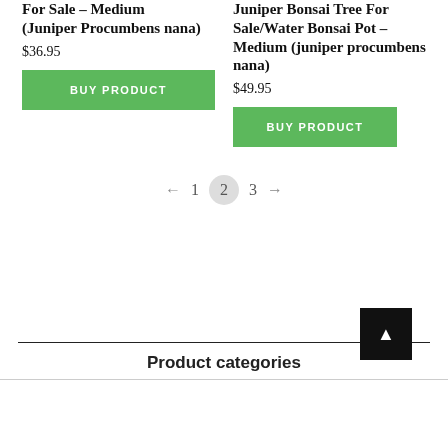For Sale – Medium (Juniper Procumbens nana)
$36.95
BUY PRODUCT
Juniper Bonsai Tree For Sale/Water Bonsai Pot – Medium (juniper procumbens nana)
$49.95
BUY PRODUCT
← 1 2 3 →
Product categories